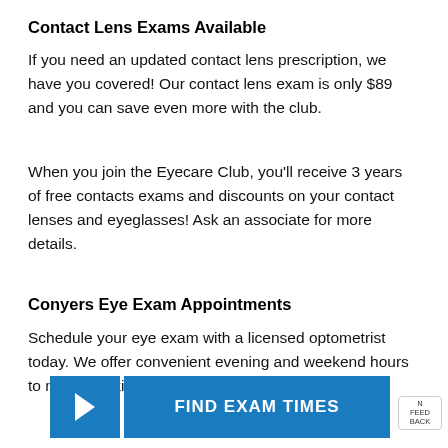Contact Lens Exams Available
If you need an updated contact lens prescription, we have you covered! Our contact lens exam is only $89 and you can save even more with the club.
When you join the Eyecare Club, you'll receive 3 years of free contacts exams and discounts on your contact lenses and eyeglasses! Ask an associate for more details.
Conyers Eye Exam Appointments
Schedule your eye exam with a licensed optometrist today. We offer convenient evening and weekend hours to make booking your annual exam easy.
[Figure (other): Blue button with right-arrow icon and text FIND EXAM TIMES]